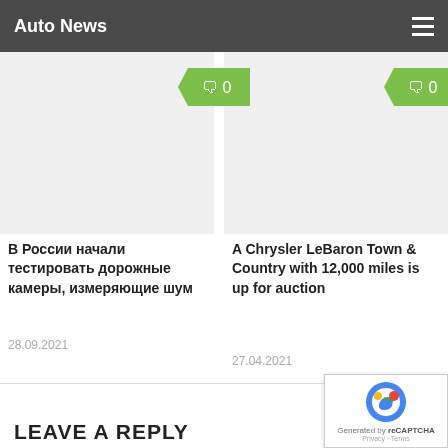Auto News
YOU MAY ALSO LIKE...
[Figure (other): Comment badge showing 0 comments (left card)]
[Figure (other): Comment badge showing 0 comments (right card)]
[Figure (photo): Article image placeholder for left card]
[Figure (photo): Article image placeholder for right card]
В России начали тестировать дорожные камеры, измеряющие шум
28.09.2021
A Chrysler LeBaron Town & Country with 12,000 miles is up for auction
27.04.2021
LEAVE A REPLY